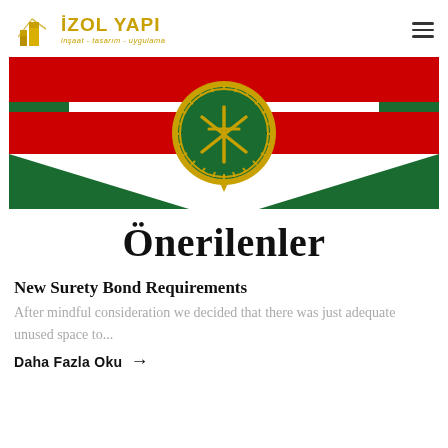İZOL YAPI — inşaat - tasarım - uygulama
[Figure (illustration): A flag with red horizontal stripe across the center, white and green sections, with a large gold emblem/medallion in the center featuring a compass-like symbol on a green background.]
Önerilenler
New Surety Bond Requirements
After mindful consideration we decided that there was just adequate unused space to...
Daha Fazla Oku →